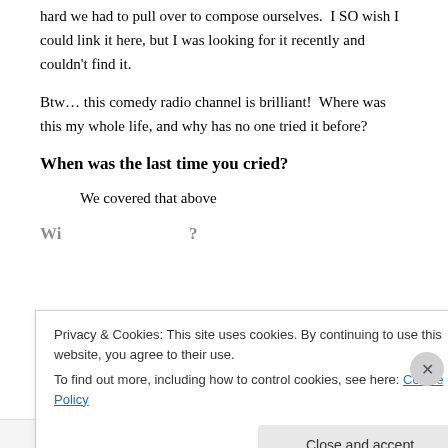hard we had to pull over to compose ourselves.  I SO wish I could link it here, but I was looking for it recently and couldn't find it.
Btw… this comedy radio channel is brilliant!  Where was this my whole life, and why has no one tried it before?
When was the last time you cried?
We covered that above
Privacy & Cookies: This site uses cookies. By continuing to use this website, you agree to their use.
To find out more, including how to control cookies, see here: Cookie Policy
Close and accept